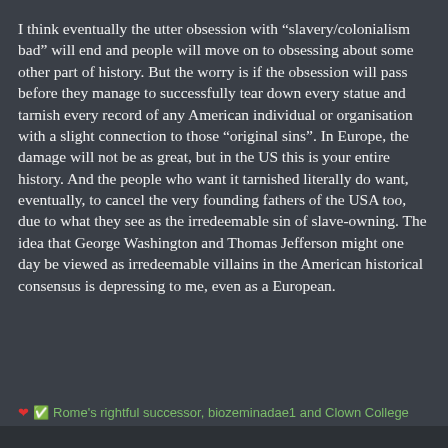I think eventually the utter obsession with "slavery/colonialism bad" will end and people will move on to obsessing about some other part of history. But the worry is if the obsession will pass before they manage to successfully tear down every statue and tarnish every record of any American individual or organisation with a slight connection to those "original sins". In Europe, the damage will not be as great, but in the US this is your entire history. And the people who want it tarnished literally do want, eventually, to cancel the very founding fathers of the USA too, due to what they see as the irredeemable sin of slave-owning. The idea that George Washington and Thomas Jefferson might one day be viewed as irredeemable villains in the American historical consensus is depressing to me, even as a European.
❤️✅ Rome's rightful successor, biozeminadae1 and Clown College